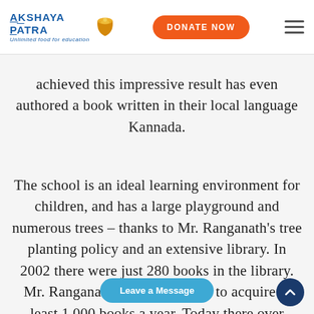Akshaya Patra | Unlimited food for education | DONATE NOW
achieved this impressive result has even authored a book written in their local language Kannada.
The school is an ideal learning environment for children, and has a large playground and numerous trees – thanks to Mr. Ranganath's tree planting policy and an extensive library. In 2002 there were just 280 books in the library. Mr. Ranganath then set a target to acquire at least 1,000 books a year. Today there over 10,000 books, spanning many